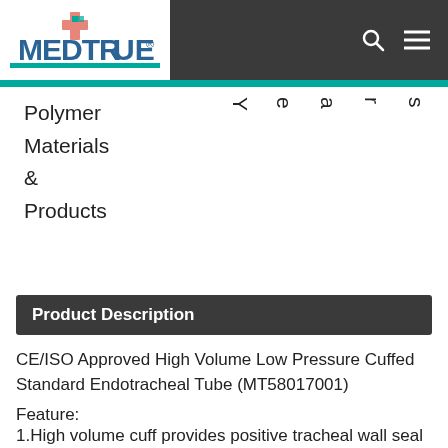MEDTRUE®
Polymer Materials & Products
Years
Product Description
CE/ISO Approved High Volume Low Pressure Cuffed Standard Endotracheal Tube (MT58017001)
Feature:
1.High volume cuff provides positive tracheal wall seal
2.Designed for use during short and long-term